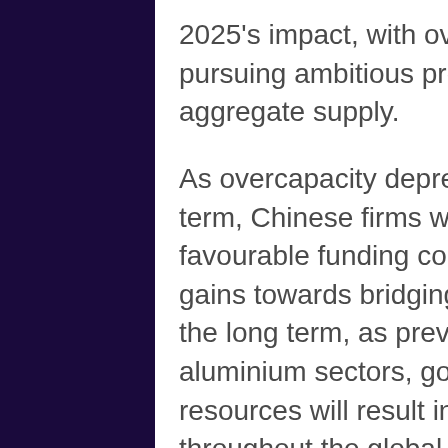2025's impact, with overeager provincial governments pursuing ambitious projects that result in excess aggregate supply.
As overcapacity depresses profit margins in the short term, Chinese firms with access to subsidies and favourable funding conditions may make incremental gains towards bridging the technology gap. However, in the long term, as previously seen in the steel and aluminium sectors, government-led misallocation of resources will result in significant costs that will be felt throughout the global economy.
Greater emphasis should be placed on reciprocity and market forces
There is no doubt that China's attempts to encourage its domestic industries in higher value-added manufacturing have a great deal of merit. However, the broad set of policy tools being employed to facilitate Made in China 2025 are highly problematic. In the face of this new...